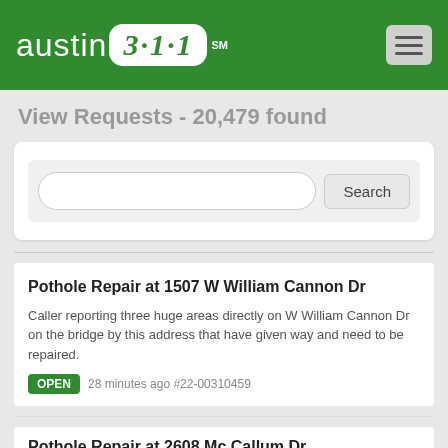[Figure (logo): Austin 3-1-1 service mark logo on green header bar with hamburger menu icon]
View Requests - 20,479 found
Search (input field and button)
Pothole Repair at 1507 W William Cannon Dr
Caller reporting three huge areas directly on W William Cannon Dr on the bridge by this address that have given way and need to be repaired.
OPEN 28 minutes ago #22-00310459
Pothole Repair at 2608 Mc Callum Dr
CLOSED Completed  37 minutes ago #21-00503717